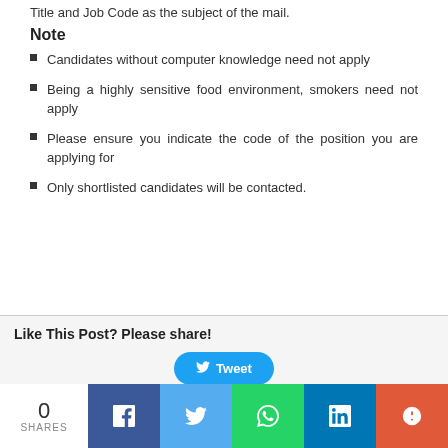Title and Job Code as the subject of the mail.
Note
Candidates without computer knowledge need not apply
Being a highly sensitive food environment, smokers need not apply
Please ensure you indicate the code of the position you are applying for
Only shortlisted candidates will be contacted.
Like This Post? Please share!
Tweet
0 SHARES | Facebook | Twitter | WhatsApp | LinkedIn | More